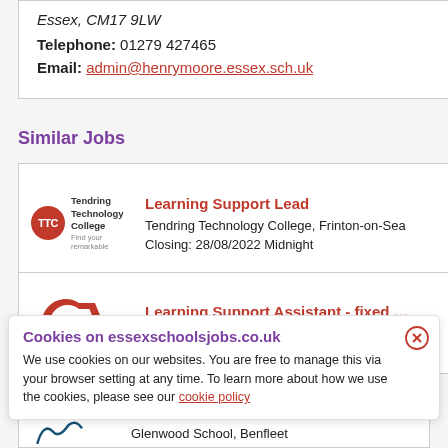Essex, CM17 9LW
Telephone: 01279 427465
Email: admin@henrymoore.essex.sch.uk
Similar Jobs
Learning Support Lead
Tendring Technology College, Frinton-on-Sea
Closing: 28/08/2022 Midnight
Learning Support Assistant - fixed ...
Colchester Academy, Colchester
Cookies on essexschoolsjobs.co.uk
We use cookies on our websites. You are free to manage this via your browser setting at any time. To learn more about how we use the cookies, please see our cookie policy
Glenwood School, Benfleet